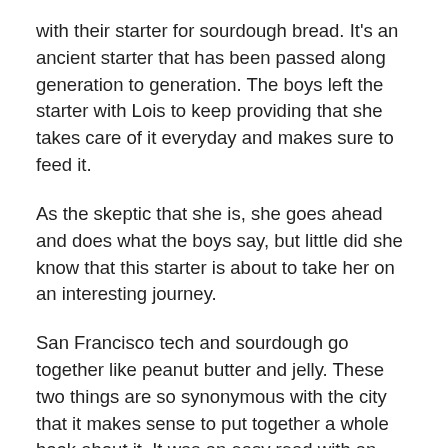with their starter for sourdough bread. It's an ancient starter that has been passed along generation to generation. The boys left the starter with Lois to keep providing that she takes care of it everyday and makes sure to feed it.
As the skeptic that she is, she goes ahead and does what the boys say, but little did she know that this starter is about to take her on an interesting journey.
San Francisco tech and sourdough go together like peanut butter and jelly. These two things are so synonymous with the city that it makes sense to put together a whole book about it. It was an easy read with an interesting story, but it wasn't a wow for me. It was good and I liked it, but I wasn't thinking this could be the best book he's ever written. What I liked in reading a story about carbs also lacked in some other technical things.
The story is kind of set up like little pockets of time. Each chapter represents one story and the entire book is a